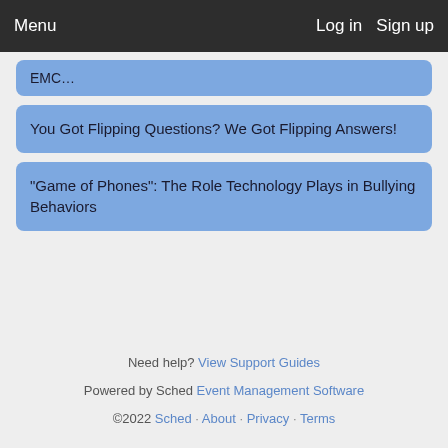Menu  Log in  Sign up
EMC…
You Got Flipping Questions? We Got Flipping Answers!
“Game of Phones”: The Role Technology Plays in Bullying Behaviors
Need help? View Support Guides
Powered by Sched Event Management Software
©2022 Sched · About · Privacy · Terms